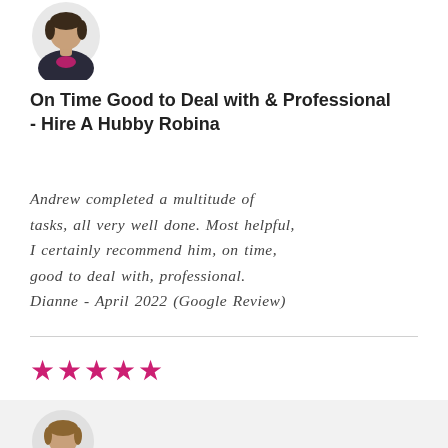[Figure (illustration): Avatar/profile image of a person in a dark and pink uniform, shown from chest up, circular crop, top of page]
On Time Good to Deal with & Professional - Hire A Hubby Robina
Andrew completed a multitude of tasks, all very well done. Most helpful, I certainly recommend him, on time, good to deal with, professional. Dianne - April 2022 (Google Review)
[Figure (illustration): Five pink/magenta filled star icons representing a 5-star rating]
[Figure (illustration): Avatar/profile image of a person in a dark and pink uniform, shown from chest up, circular crop, bottom of page on grey background section]